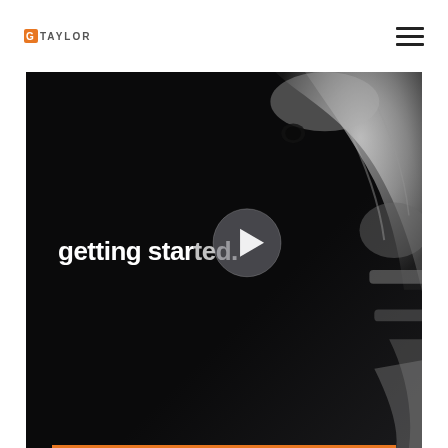GTAYLOR
[Figure (screenshot): Dark video thumbnail with text 'getting started.' overlaid in white bold font and a play button circle in the center. Right side shows a black-and-white image of an astronaut arm/spacesuit. An orange bar appears at the very bottom edge.]